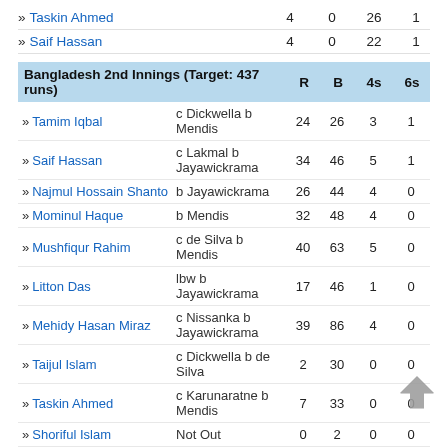|  |  |  |  |  |
| --- | --- | --- | --- | --- |
| » Taskin Ahmed |  | 4 | 0 | 26 | 1 |
| » Saif Hassan |  | 4 | 0 | 22 | 1 |
| Bangladesh 2nd Innings (Target: 437 runs) |  | R | B | 4s | 6s |
| --- | --- | --- | --- | --- | --- |
| » Tamim Iqbal | c Dickwella b Mendis | 24 | 26 | 3 | 1 |
| » Saif Hassan | c Lakmal b Jayawickrama | 34 | 46 | 5 | 1 |
| » Najmul Hossain Shanto | b Jayawickrama | 26 | 44 | 4 | 0 |
| » Mominul Haque | b Mendis | 32 | 48 | 4 | 0 |
| » Mushfiqur Rahim | c de Silva b Mendis | 40 | 63 | 5 | 0 |
| » Litton Das | lbw b Jayawickrama | 17 | 46 | 1 | 0 |
| » Mehidy Hasan Miraz | c Nissanka b Jayawickrama | 39 | 86 | 4 | 0 |
| » Taijul Islam | c Dickwella b de Silva | 2 | 30 | 0 | 0 |
| » Taskin Ahmed | c Karunaratne b Mendis | 7 | 33 | 0 | 0 |
| » Shoriful Islam | Not Out | 0 | 2 | 0 | 0 |
| » Abu Jayed | lbw b Jayawickrama | 0 | 3 | 0 | 0 |
| Extras | B 3, LB 2, N 1 | 6 |  |  |  |
| Total : | (all out in 71.0 overs) | 227 |  | RR : 3.20 |  |
Fall of wickets : 1-31 (Tamim Iqbal, 7.1 ov), 2-73 (Saif Hassan, 16.4 ov), 3-104 (Najmul Hossain Shanto, 22.5 ov), 4-134 (Mominul Haque, 31.6 ov), 5-171 (Mushfiqur Rahim, 41.4 ov), 6-192 (Litton Das, 50.2 ov)